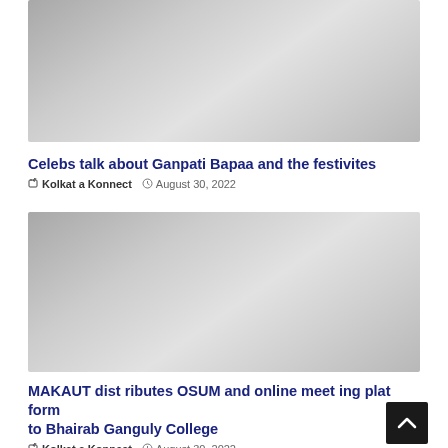[Figure (photo): Gray placeholder image for article about Ganpati Bapaa festivities]
Celebs talk about Ganpati Bapaa and the festivites
Kolkata Konnect  August 30, 2022
[Figure (photo): Gray placeholder image for article about MAKAUT distributing OSUM]
MAKAUT distributes OSUM and online meeting platform to Bhairab Ganguly College
Kolkata Konnect  August 30, 2022
[Figure (photo): Gray placeholder image for a third article (partially visible at bottom)]